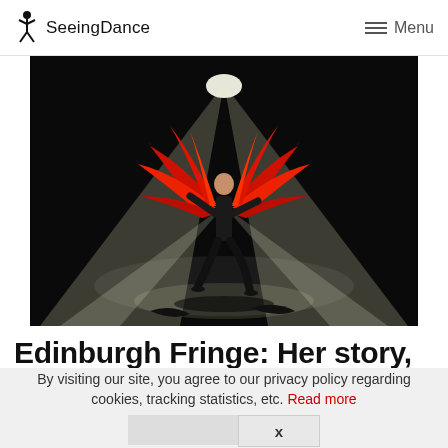SeeingDance — Menu
[Figure (photo): A dancer on a dark stage wearing a black outfit with large red feathered/flame-like wings spread wide, illuminated by two bright spotlight beams crossing from behind.]
Edinburgh Fringe: Her story, Liz
By visiting our site, you agree to our privacy policy regarding cookies, tracking statistics, etc. Read more